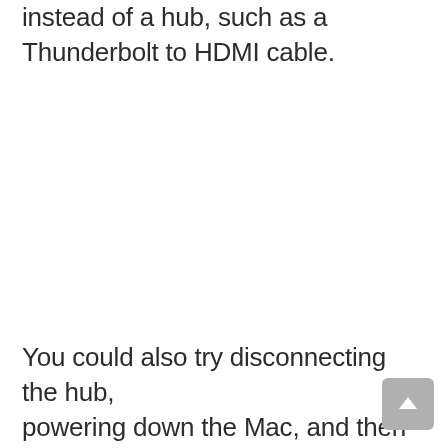instead of a hub, such as a Thunderbolt to HDMI cable.
You could also try disconnecting the hub, powering down the Mac, and then reconnecting the hub when it powers on.